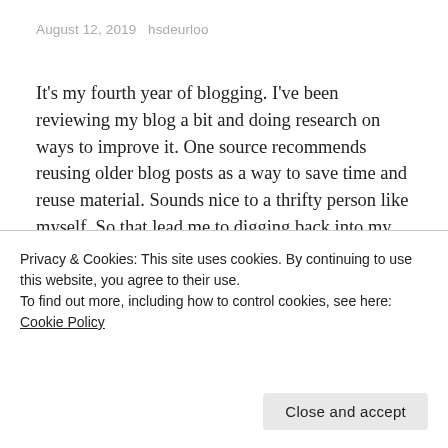August 12, 2019   hsdeurloo
It's my fourth year of blogging. I've been reviewing my blog a bit and doing research on ways to improve it. One source recommends reusing older blog posts as a way to save time and reuse material. Sounds nice to a thrifty person like myself. So that lead me to digging back into my older... Continue reading
Share this Quest:
Privacy & Cookies: This site uses cookies. By continuing to use this website, you agree to their use.
To find out more, including how to control cookies, see here: Cookie Policy
Close and accept